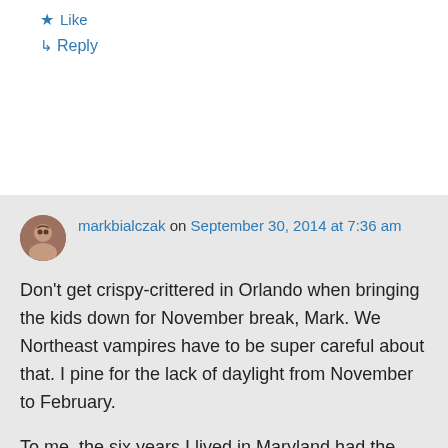★ Like
↳ Reply
markbialczak on September 30, 2014 at 7:36 am
Don't get crispy-crittered in Orlando when bringing the kids down for November break, Mark. We Northeast vampires have to be super careful about that. I pine for the lack of daylight from November to February.
To me, the six years I lived in Maryland had the seasonal spin just about right. The nice stuff lasted about one month longer on each end than up here, but all four were